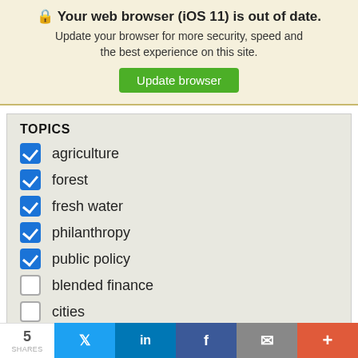🔒 Your web browser (iOS 11) is out of date. Update your browser for more security, speed and the best experience on this site.
Update browser
TOPICS
agriculture (checked)
forest (checked)
fresh water (checked)
philanthropy (checked)
public policy (checked)
blended finance (unchecked)
cities (unchecked)
climate (unchecked)
5 | Twitter | in | f | mail | +